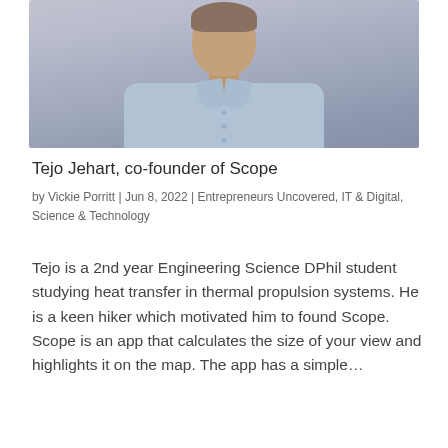[Figure (photo): Portrait photo of Tejo Jehart, a man wearing a light blue button-down shirt, photographed from chest up against a blurred purple/grey background]
Tejo Jehart, co-founder of Scope
by Vickie Porritt | Jun 8, 2022 | Entrepreneurs Uncovered, IT & Digital, Science & Technology
Tejo is a 2nd year Engineering Science DPhil student studying heat transfer in thermal propulsion systems. He is a keen hiker which motivated him to found Scope. Scope is an app that calculates the size of your view and highlights it on the map. The app has a simple…